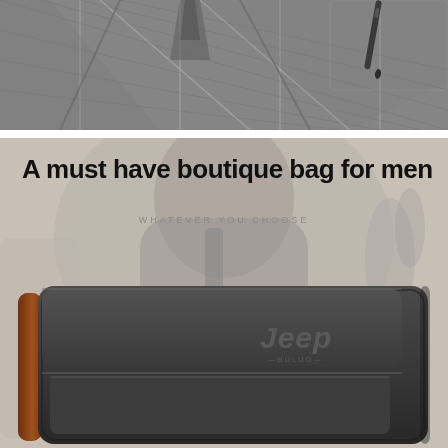[Figure (photo): Close-up photo of grey pinstripe suit fabric with a pen in the pocket]
[Figure (photo): Product advertisement image for Jeep Buluo boutique men's bag. Text reads 'A must have boutique bag for men' and 'WHATEVER YOU CHOOSE'. Shows a black leather clutch/portfolio bag with Jeep Buluo branding, photographed with a blurred businessman background.]